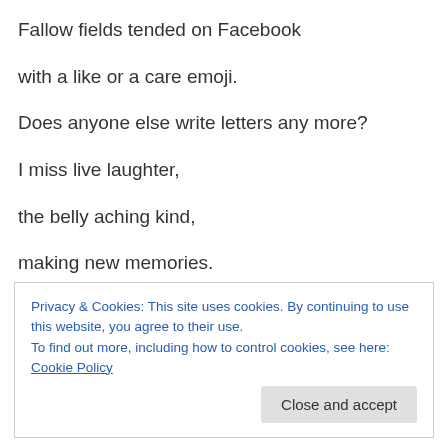Fallow fields tended on Facebook
with a like or a care emoji.
Does anyone else write letters any more?
I miss live laughter,
the belly aching kind,
making new memories.
I miss voices harmonizing until the cells
Privacy & Cookies: This site uses cookies. By continuing to use this website, you agree to their use.
To find out more, including how to control cookies, see here: Cookie Policy